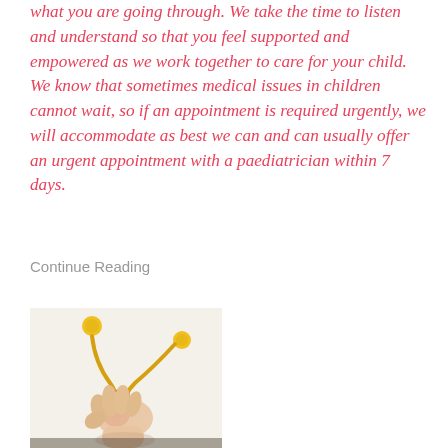what you are going through. We take the time to listen and understand so that you feel supported and empowered as we work together to care for your child. We know that sometimes medical issues in children cannot wait, so if an appointment is required urgently, we will accommodate as best we can and can usually offer an urgent appointment with a paediatrician within 7 days.
Continue Reading
[Figure (photo): A child's hand holding a red toy medical stethoscope with yellow earpieces against a white wall]